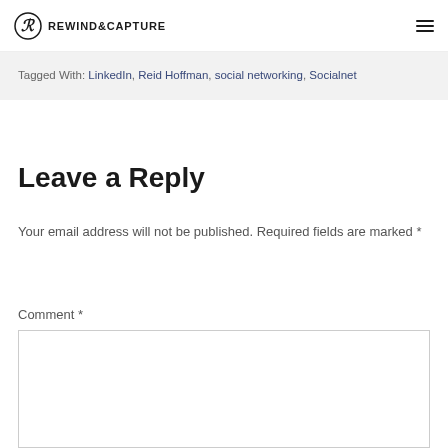REWIND&CAPTURE
Tagged With: LinkedIn, Reid Hoffman, social networking, Socialnet
Leave a Reply
Your email address will not be published. Required fields are marked *
Comment *